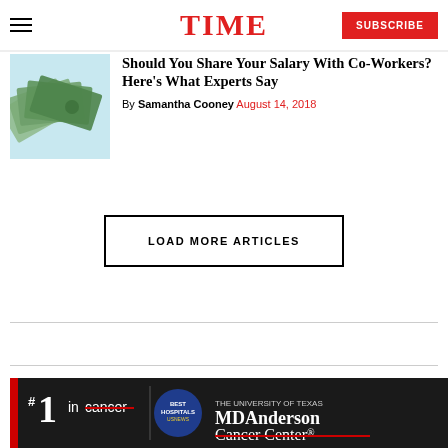TIME | SUBSCRIBE
[Figure (photo): Fan of US dollar bills against light blue background]
Should You Share Your Salary With Co-Workers? Here's What Experts Say
By Samantha Cooney August 14, 2018
LOAD MORE ARTICLES
[Figure (other): MD Anderson Cancer Center advertisement - #1 in cancer, Best Hospitals US News]